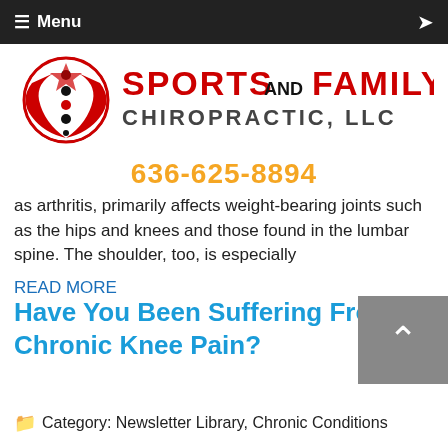≡ Menu
[Figure (logo): Sports and Family Chiropractic, LLC logo with red circular spine graphic and bold red/black text]
636-625-8894
as arthritis, primarily affects weight-bearing joints such as the hips and knees and those found in the lumbar spine. The shoulder, too, is especially
READ MORE
Have You Been Suffering From Chronic Knee Pain?
Category: Newsletter Library, Chronic Conditions